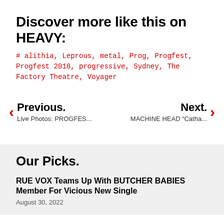Discover more like this on HEAVY:
# alithia, Leprous, metal, Prog, Progfest, Progfest 2018, progressive, Sydney, The Factory Theatre, Voyager
Previous. Live Photos: PROGFES...
Next. MACHINE HEAD "Catha...
Our Picks.
RUE VOX Teams Up With BUTCHER BABIES Member For Vicious New Single
August 30, 2022